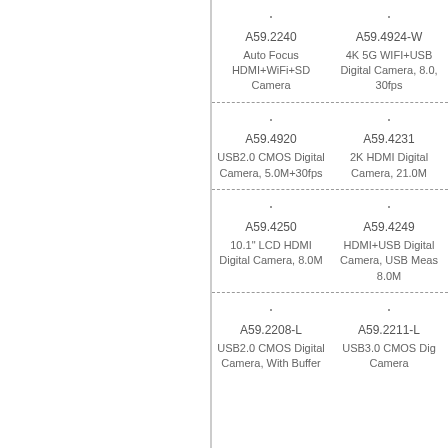| . | . | A59.2240 | A59.4924-W | Auto Focus HDMI+WiFi+SD Camera | 4K 5G WIFI+USB Digital Camera, 8.0, 30fps |
| . | . | A59.4920 | A59.4231 | USB2.0 CMOS Digital Camera, 5.0M+30fps | 2K HDMI Digital Camera, 21.0M |
| . | . | A59.4250 | A59.4249 | 10.1" LCD HDMI Digital Camera, 8.0M | HDMI+USB Digital Camera, USB Meas 8.0M |
| . | . | A59.2208-L | A59.2211-L | USB2.0 CMOS Digital Camera, With Buffer | USB3.0 CMOS Digital Camera |